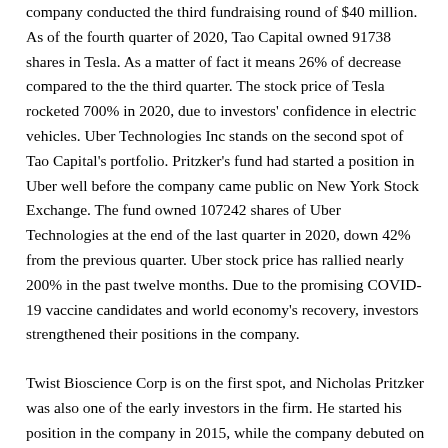company conducted the third fundraising round of $40 million. As of the fourth quarter of 2020, Tao Capital owned 91738 shares in Tesla. As a matter of fact it means 26% of decrease compared to the the third quarter. The stock price of Tesla rocketed 700% in 2020, due to investors' confidence in electric vehicles. Uber Technologies Inc stands on the second spot of Tao Capital's portfolio. Pritzker's fund had started a position in Uber well before the company came public on New York Stock Exchange. The fund owned 107242 shares of Uber Technologies at the end of the last quarter in 2020, down 42% from the previous quarter. Uber stock price has rallied nearly 200% in the past twelve months. Due to the promising COVID-19 vaccine candidates and world economy's recovery, investors strengthened their positions in the company.
Twist Bioscience Corp is on the first spot, and Nicholas Pritzker was also one of the early investors in the firm. He started his position in the company in 2015, while the company debuted on NASDAQ in only 2018 with a share price of $14. At present the